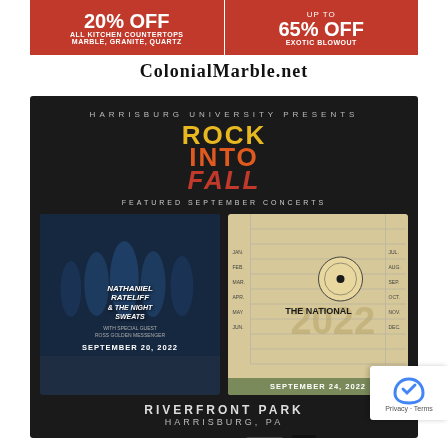[Figure (infographic): Colonial Marble advertisement banner with red background showing 20% OFF All Kitchen Countertops (Marble, Granite, Quartz) on left and Up to 65% OFF Exotic Blowout on right, with ColonialMarble.net in black and white section below]
[Figure (infographic): Harrisburg University Presents Rock Into Fall concert poster on dark background featuring Nathaniel Rateliff & The Night Sweats on September 20, 2022 and The National on September 24, 2022 at Riverfront Park, Harrisburg, PA with sponsor logos]